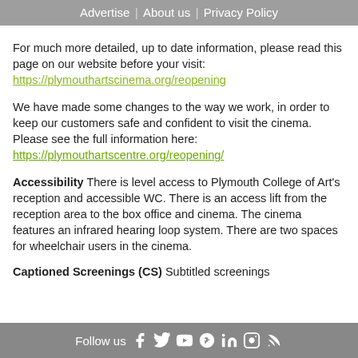Advertise | About us | Privacy Policy
For much more detailed, up to date information, please read this page on our website before your visit: https://plymouthartscinema.org/reopening
We have made some changes to the way we work, in order to keep our customers safe and confident to visit the cinema. Please see the full information here: https://plymouthartscentre.org/reopening/
Accessibility There is level access to Plymouth College of Art's reception and accessible WC. There is an access lift from the reception area to the box office and cinema. The cinema features an infrared hearing loop system. There are two spaces for wheelchair users in the cinema.
Captioned Screenings (CS) Subtitled screenings...
Follow us